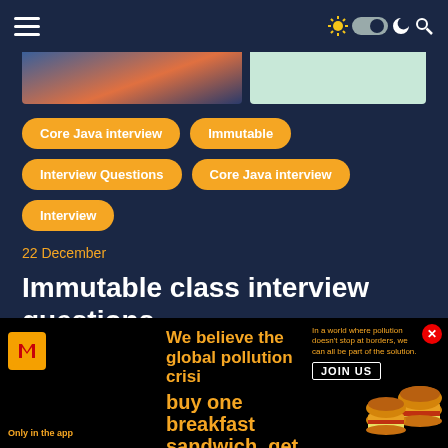Navigation bar with hamburger menu and dark mode toggle
Core Java interview
Immutable
Interview Questions
Core Java interview
Interview
22 December
Immutable class interview questions
In this post, I am going to share java interview questions which are generally asked on immutable class. Immutable
[Figure (photo): McDonald's advertisement banner: buy one breakfast sandwich, get one free. Only in the app.]